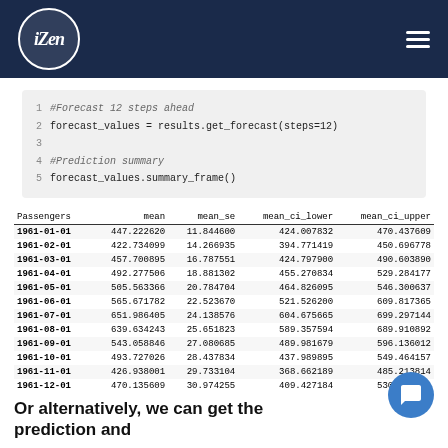iZen logo header
#Forecast 12 steps ahead
forecast_values = results.get_forecast(steps=12)

#Prediction summary
forecast_values.summary_frame()
| Passengers | mean | mean_se | mean_ci_lower | mean_ci_upper |
| --- | --- | --- | --- | --- |
| 1961-01-01 | 447.222620 | 11.844600 | 424.007832 | 470.437609 |
| 1961-02-01 | 422.734099 | 14.266935 | 394.771419 | 450.696778 |
| 1961-03-01 | 457.700895 | 16.787551 | 424.797900 | 490.603890 |
| 1961-04-01 | 492.277506 | 18.881302 | 455.270834 | 529.284177 |
| 1961-05-01 | 505.563366 | 20.784704 | 464.826095 | 546.300637 |
| 1961-06-01 | 565.671782 | 22.523670 | 521.526200 | 609.817365 |
| 1961-07-01 | 651.986405 | 24.138576 | 604.675665 | 699.297144 |
| 1961-08-01 | 639.634243 | 25.651823 | 589.357594 | 689.910892 |
| 1961-09-01 | 543.058846 | 27.080685 | 489.981679 | 596.136012 |
| 1961-10-01 | 493.727026 | 28.437834 | 437.989895 | 549.464157 |
| 1961-11-01 | 426.938001 | 29.733104 | 368.662189 | 485.213814 |
| 1961-12-01 | 470.135609 | 30.974255 | 409.427184 | 530.844034 |
Or alternatively, we can get the prediction and